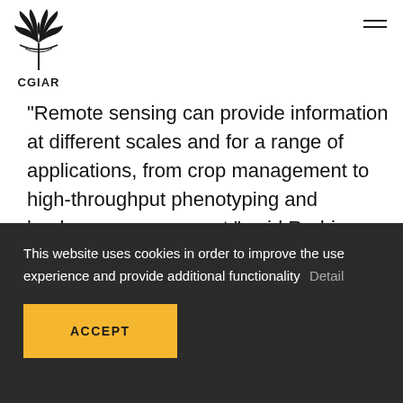CGIAR
“Remote sensing can provide information at different scales and for a range of applications, from crop management to high-throughput phenotyping and landscape assessment,” said Rodrigues, whose research focuses on the analysis and interpretation of spatial and temporal
This website uses cookies in order to improve the use experience and provide additional functionality   Detail
ACCEPT